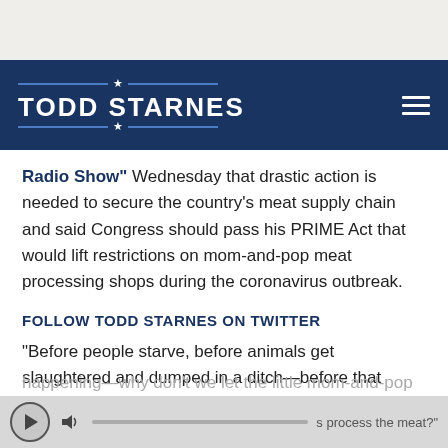TODD STARNES
Radio Show" Wednesday that drastic action is needed to secure the country's meat supply chain and said Congress should pass his PRIME Act that would lift restrictions on mom-and-pop meat processing shops during the coronavirus outbreak.
FOLLOW TODD STARNES ON TWITTER
"Before people starve, before animals get slaughtered and dumped in a ditch—before that happens, and it's already happening—why don't we let the little mom-and-pop s process the meat?"